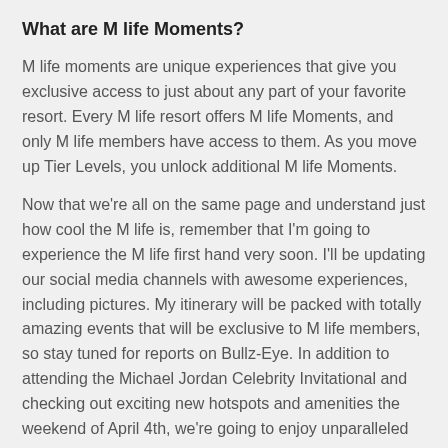What are M life Moments?
M life moments are unique experiences that give you exclusive access to just about any part of your favorite resort. Every M life resort offers M life Moments, and only M life members have access to them. As you move up Tier Levels, you unlock additional M life Moments.
Now that we're all on the same page and understand just how cool the M life is, remember that I'm going to experience the M life first hand very soon. I'll be updating our social media channels with awesome experiences, including pictures. My itinerary will be packed with totally amazing events that will be exclusive to M life members, so stay tuned for reports on Bullz-Eye. In addition to attending the Michael Jordan Celebrity Invitational and checking out exciting new hotspots and amenities the weekend of April 4th, we're going to enjoy unparalleled